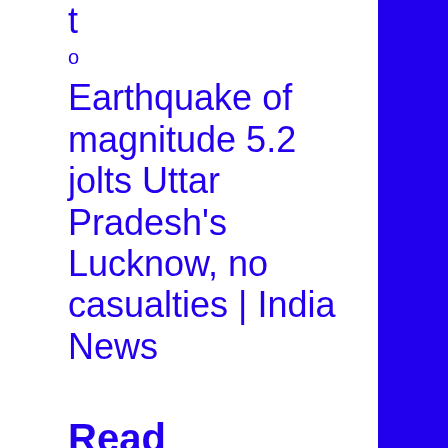t
o
Earthquake of magnitude 5.2 jolts Uttar Pradesh’s Lucknow, no casualties | India News
Read more